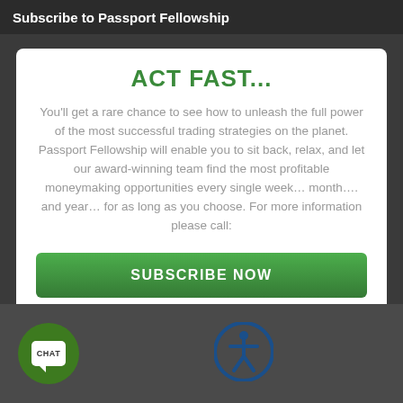Subscribe to Passport Fellowship
ACT FAST...
You'll get a rare chance to see how to unleash the full power of the most successful trading strategies on the planet. Passport Fellowship will enable you to sit back, relax, and let our award-winning team find the most profitable moneymaking opportunities every single week… month…. and year… for as long as you choose. For more information please call:
[Figure (other): Green SUBSCRIBE NOW button]
[Figure (other): Green circular chat bubble icon with CHAT label]
[Figure (other): Blue circular accessibility icon with stick figure]